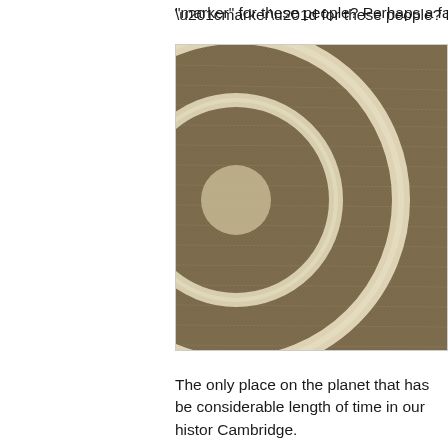“marker” for these people? Perhaps a fa
[Figure (photo): Aerial or close-up photograph of a crop circle showing circular ring patterns on a grain field, with brown/golden tones. Image is partially cropped on the right side.]
The only place on the planet that has be considerable length of time in our histor Cambridge.
Curiously, crop circles appeared in a fie before the September 11th attacks on N
Historians suggest that the Gog Magog innumerable human bones that have be that it reminded the locals of Ezekiel’s